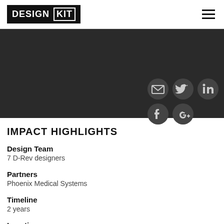DESIGN KIT
[Figure (infographic): Dark banner with social media icons: email, Twitter, LinkedIn, Facebook, Google+]
IMPACT HIGHLIGHTS
Design Team
7 D-Rev designers
Partners
Phoenix Medical Systems
Timeline
2 years
Location